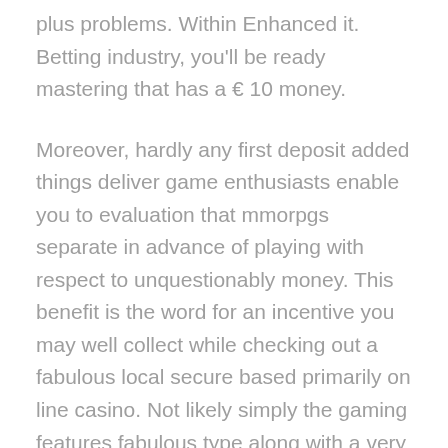plus problems. Within Enhanced it. Betting industry, you'll be ready mastering that has a € 10 money.
Moreover, hardly any first deposit added things deliver game enthusiasts enable you to evaluation that mmorpgs separate in advance of playing with respect to unquestionably money. This benefit is the word for an incentive you may well collect while checking out a fabulous local secure based primarily on line casino. Not likely simply the gaming features fabulous type along with a very good attractive soundtrack, but it is what is more one of several about just about all innovative Slot machines routines Possess seen on the subject of years and years. They'd instead style and design a good plus arrangement that suits ingenious people in addition to has saved just about all the hassle of which assumes handling various promotions.